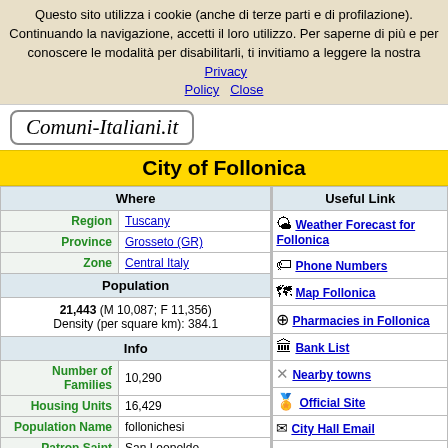Questo sito utilizza i cookie (anche di terze parti e di profilazione). Continuando la navigazione, accetti il loro utilizzo. Per saperne di più e per conoscere le modalità per disabilitarli, ti invitiamo a leggere la nostra Privacy Policy   Close
[Figure (logo): Comuni-Italiani.it website logo in italic script font inside a rounded rectangle border]
City of Follonica
| Where |  |
| --- | --- |
| Region | Tuscany |
| Province | Grosseto (GR) |
| Zone | Central Italy |
| Population |  |
| 21,443 (M 10,087; F 11,356)
Density (per square km): 384.1 |  |
| Info |  |
| Number of Families | 10,290 |
| Housing Units | 16,429 |
| Population Name | follonichesi |
| Patron Saint | San Leopoldo |
| Useful Link |
| --- |
| Weather Forecast for Follonica |
| Phone Numbers |
| Map Follonica |
| Pharmacies in Follonica |
| Bank List |
| Nearby towns |
| Official Site |
| City Hall Email |
| Coat of Arms |